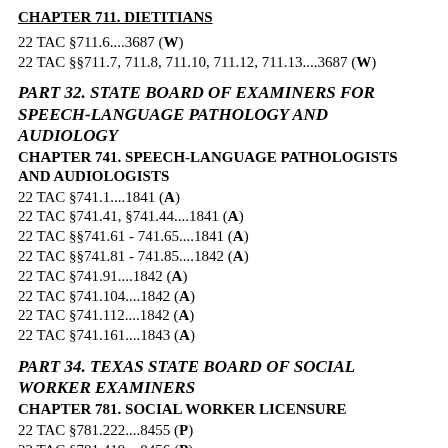CHAPTER 711. DIETITIANS
22 TAC §711.6....3687 (W)
22 TAC §§711.7, 711.8, 711.10, 711.12, 711.13....3687 (W)
PART 32. STATE BOARD OF EXAMINERS FOR SPEECH-LANGUAGE PATHOLOGY AND AUDIOLOGY
CHAPTER 741. SPEECH-LANGUAGE PATHOLOGISTS AND AUDIOLOGISTS
22 TAC §741.1....1841 (A)
22 TAC §741.41, §741.44....1841 (A)
22 TAC §§741.61 - 741.65....1841 (A)
22 TAC §§741.81 - 741.85....1842 (A)
22 TAC §741.91....1842 (A)
22 TAC §741.104....1842 (A)
22 TAC §741.112....1842 (A)
22 TAC §741.161....1843 (A)
PART 34. TEXAS STATE BOARD OF SOCIAL WORKER EXAMINERS
CHAPTER 781. SOCIAL WORKER LICENSURE
22 TAC §781.222....8455 (P)
22 TAC §781.419....8456 (P)
PART 35. TEXAS STATE BOARD OF EXAMINERS